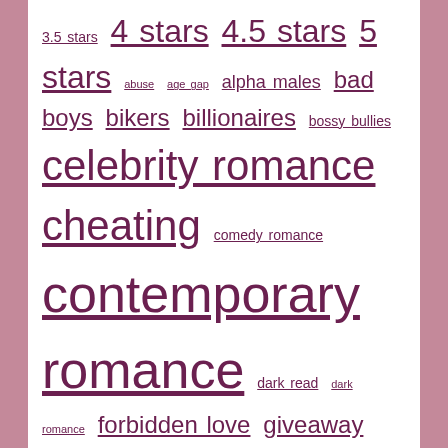3.5 stars 4 stars 4.5 stars 5 stars abuse age gap alpha males bad boys bikers billionaires bossy bullies celebrity romance cheating comedy romance contemporary romance dark read dark romance forbidden love giveaway infidelity kidnapped love triangle mafia marital strife men in uniform motorcycle club new adult paranormal romance pregnancy psych-thriller psychological thriller reader favorites reader question reader recommendations rock stars second chance romance shifters solved sports